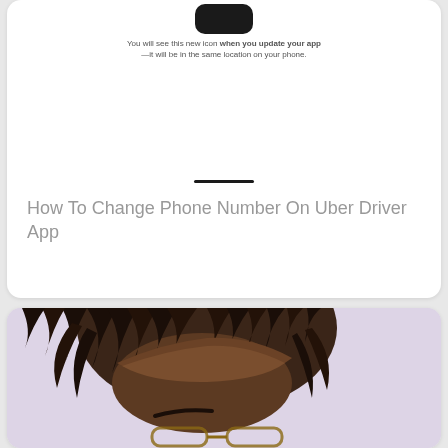[Figure (screenshot): App icon - black rounded rectangle resembling Uber app icon]
You will see this new icon when you update your app—it will be in the same location on your phone.
How To Change Phone Number On Uber Driver App
[Figure (photo): Close-up photo of a person with braided dreadlocks hair, viewed from above/front, with glasses visible at bottom of frame, against a light purple/lavender background]